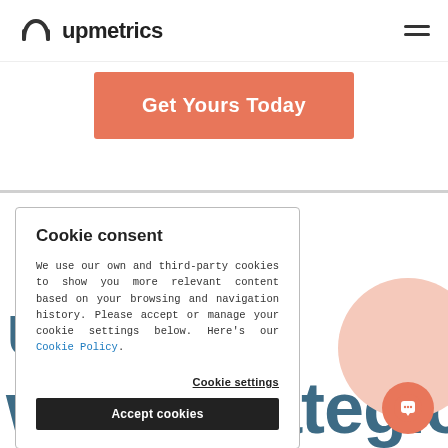upmetrics
Get Yours Today
Cookie consent
We use our own and third-party cookies to show you more relevant content based on your browsing and navigation history. Please accept or manage your cookie settings below. Here's our Cookie Policy.
Cookie settings
Accept cookies
ur Goa
with Strategic